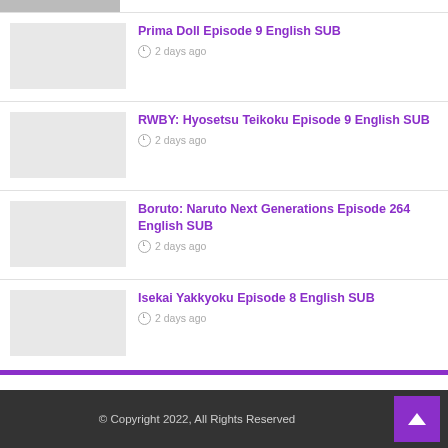Prima Doll Episode 9 English SUB
2 days ago
RWBY: Hyosetsu Teikoku Episode 9 English SUB
2 days ago
Boruto: Naruto Next Generations Episode 264 English SUB
2 days ago
Isekai Yakkyoku Episode 8 English SUB
2 days ago
© Copyright 2022, All Rights Reserved